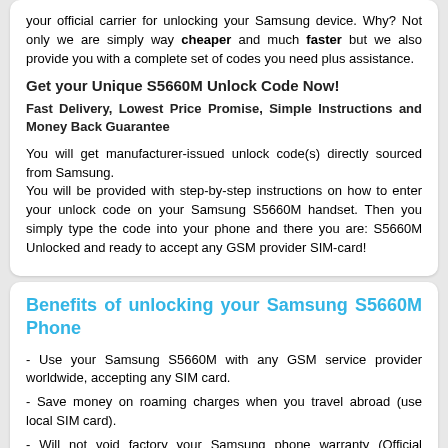your official carrier for unlocking your Samsung device. Why? Not only we are simply way cheaper and much faster but we also provide you with a complete set of codes you need plus assistance.
Get your Unique S5660M Unlock Code Now!
Fast Delivery, Lowest Price Promise, Simple Instructions and Money Back Guarantee
You will get manufacturer-issued unlock code(s) directly sourced from Samsung.
You will be provided with step-by-step instructions on how to enter your unlock code on your Samsung S5660M handset. Then you simply type the code into your phone and there you are: S5660M Unlocked and ready to accept any GSM provider SIM-card!
Benefits of unlocking your Samsung S5660M Phone
- Use your Samsung S5660M with any GSM service provider worldwide, accepting any SIM card.
- Save money on roaming charges when you travel abroad (use local SIM card).
- Will not void factory your Samsung phone warranty (Official Carriers use exactly the same method)
- Increase the resale value of your unlocked Samsung S5660M.
- No need to send your phone away, or to waste time to local store: Quickly remote unlocking by code, from Your home!
- No technical knowledge required: If you can dial a telephone number, you